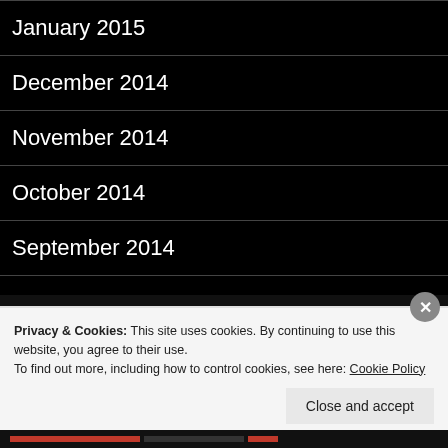January 2015
December 2014
November 2014
October 2014
September 2014
August 2014
Privacy & Cookies: This site uses cookies. By continuing to use this website, you agree to their use.
To find out more, including how to control cookies, see here: Cookie Policy
Close and accept